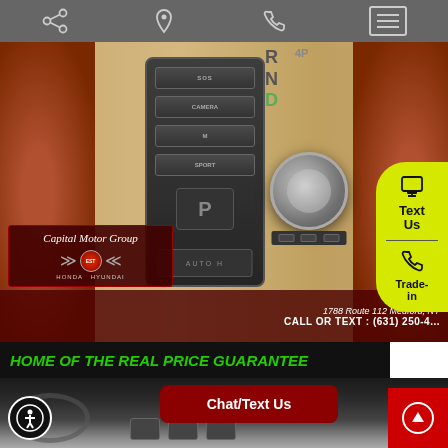Navigation bar with share, location, phone, and menu icons
[Figure (photo): Car interior photo showing BMW gear shifter console, iDrive controller, leather seats, and Capital Motor Group dealership logo overlay with address 1788 Route 112 Medford, NY and CALL OR TEXT: (631) 250-...]
Text Us
Trade-in
HOME OF THE REAL PRICE GUARANTEE
[Figure (photo): Car interior dashboard photo showing steering wheel and center console area]
Chat/Text Us
[Figure (illustration): Accessibility icon button (person with circle outline)]
[Figure (illustration): Scroll up button with upward arrow on red background]